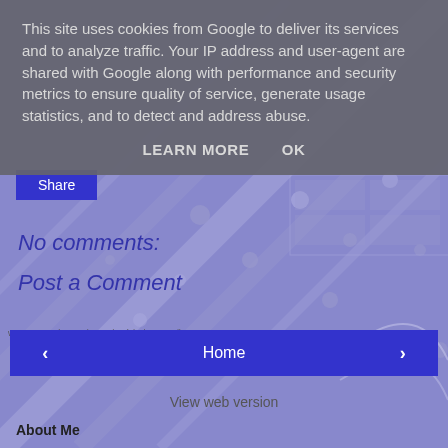This site uses cookies from Google to deliver its services and to analyze traffic. Your IP address and user-agent are shared with Google along with performance and security metrics to ensure quality of service, generate usage statistics, and to detect and address abuse.
LEARN MORE   OK
[Figure (screenshot): Blue/purple circuit board or network diagram background image]
Share
No comments:
Post a Comment
‹
Home
›
View web version
About Me